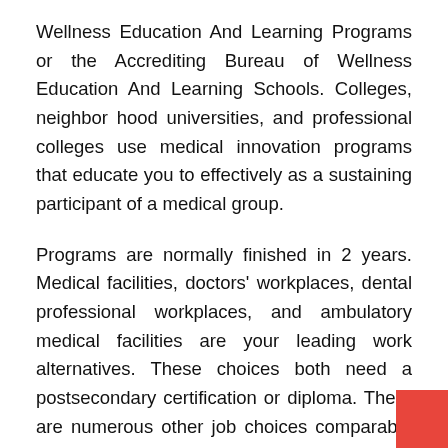Wellness Education And Learning Programs or the Accrediting Bureau of Wellness Education And Learning Schools. Colleges, neighbor hood universities, and professional colleges use medical innovation programs that educate you to effectively as a sustaining participant of a medical group.
Programs are normally finished in 2 years. Medical facilities, doctors' workplaces, dental professional workplaces, and ambulatory medical facilities are your leading work alternatives. These choices both need a postsecondary certification or diploma. There are numerous other job choices comparable to an operating space service technician, such as a clinical aide or oral aide. Program material is most likely to cover makeup as well as physiology, clinical terms, pharmacology, and also operations. You can anticipate executing as well as use